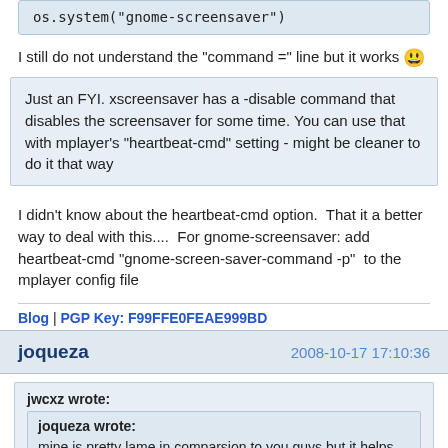os.system("gnome-screensaver")
I still do not understand the "command =" line but it works 😃
Just an FYI. xscreensaver has a -disable command that disables the screensaver for some time. You can use that with mplayer's "heartbeat-cmd" setting - might be cleaner to do it that way
I didn't know about the heartbeat-cmd option.  That it a better way to deal with this....  For gnome-screensaver: add  heartbeat-cmd "gnome-screen-saver-command -p"  to the mplayer config file
Blog | PGP Key: F99FFE0FEAE999BD
joqueza
2008-10-17 17:10:36
jwcxz wrote:
joqueza wrote:
mine is pretty lame in comparsion to you guys but it helps